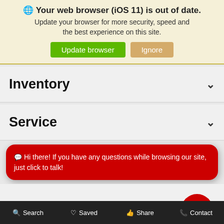🌐 Your web browser (iOS 11) is out of date. Update your browser for more security, speed and the best experience on this site. [Update browser] [Ignore]
Inventory ∨
Service ∨
💬 Hi there! If you have any questions while browsing our site, just click to talk!
About
🔍 Search   ♡ Saved   👍 Share   📞 Contact